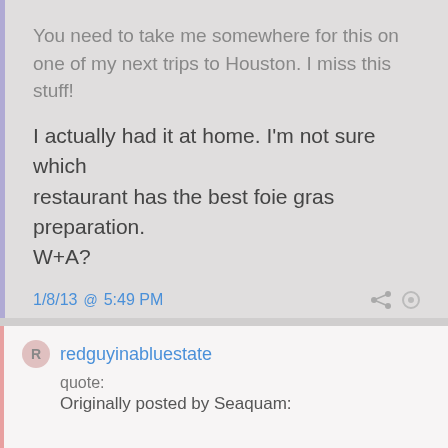You need to take me somewhere for this on one of my next trips to Houston. I miss this stuff!
I actually had it at home. I'm not sure which restaurant has the best foie gras preparation. W+A?
1/8/13  @  5:49 PM
♥  0
redguyinabluestate
quote:
Originally posted by Seaquam: